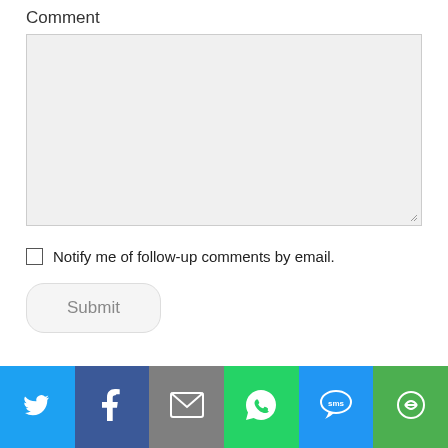Comment
[Figure (screenshot): Empty comment text area input field with light gray background and resize handle in bottom-right corner]
Notify me of follow-up comments by email.
[Figure (screenshot): Submit button with rounded corners and gray styling]
[Figure (infographic): Social share bar with six buttons: Twitter (blue bird icon), Facebook (dark blue f icon), Email (gray envelope icon), WhatsApp (green speech bubble icon), SMS (blue SMS icon), More (green circular arrows icon)]